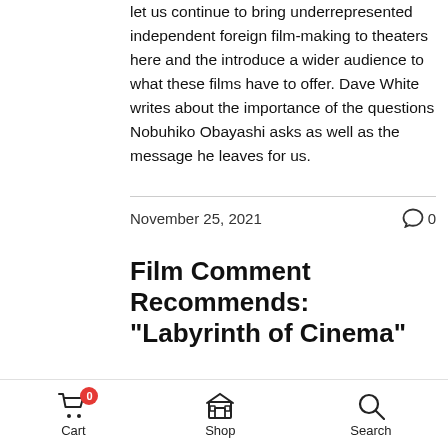let us continue to bring underrepresented independent foreign film-making to theaters here and the introduce a wider audience to what these films have to offer. Dave White writes about the importance of the questions Nobuhiko Obayashi asks as well as the message he leaves for us.
November 25, 2021
Film Comment Recommends: "Labyrinth of Cinema"
Welcome to Setouchi Kinema, please
Cart  Shop  Search